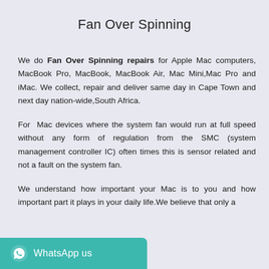Fan Over Spinning
We do Fan Over Spinning repairs for Apple Mac computers, MacBook Pro, MacBook, MacBook Air, Mac Mini,Mac Pro and iMac. We collect, repair and deliver same day in Cape Town and next day nation-wide,South Africa.
For Mac devices where the system fan would run at full speed without any form of regulation from the SMC (system management controller IC) often times this is sensor related and not a fault on the system fan.
We understand how important your Mac is to you and how important part it plays in your daily life.We believe that only a